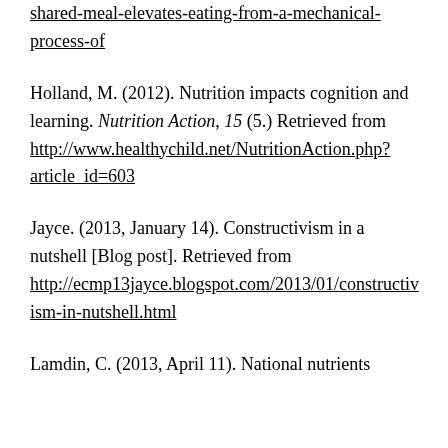shared-meal-elevates-eating-from-a-mechanical-process-of
Holland, M. (2012). Nutrition impacts cognition and learning. Nutrition Action, 15 (5.) Retrieved from http://www.healthychild.net/NutritionAction.php?article_id=603
Jayce. (2013, January 14). Constructivism in a nutshell [Blog post]. Retrieved from http://ecmp13jayce.blogspot.com/2013/01/constructivism-in-nutshell.html
Lamdin, C. (2013, April 11). National nutrients